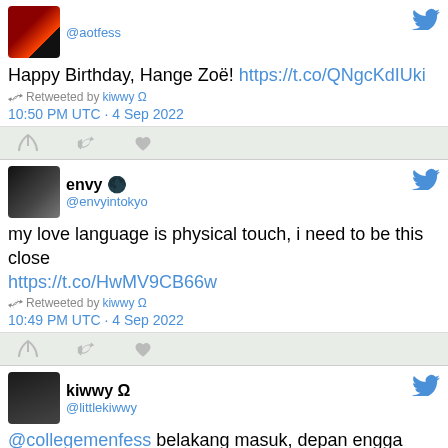[Figure (screenshot): Twitter/social media feed screenshot showing three tweets from @aotfess, @envyintokyo (envy), and @littlekiwwy (kiwwy Ω)]
@aotfess
Happy Birthday, Hange Zoë! https://t.co/QNgcKdIUki
Retweeted by kiwwy Ω
10:50 PM UTC · 4 Sep 2022
envy 🌑 @envyintokyo
my love language is physical touch, i need to be this close https://t.co/HwMV9CB66w
Retweeted by kiwwy Ω
10:49 PM UTC · 4 Sep 2022
kiwwy Ω @littlekiwwy
@collegemenfess belakang masuk, depan engga
10:46 PM UTC · 4 Sep 2022